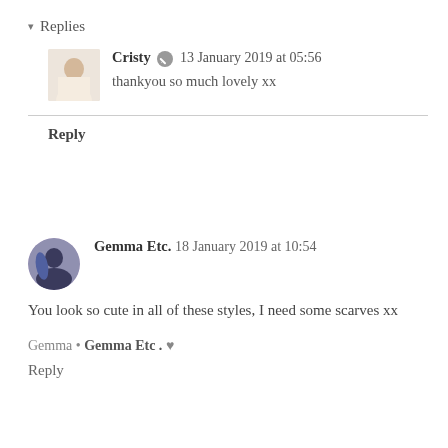▾ Replies
Cristy  13 January 2019 at 05:56
thankyou so much lovely xx
Reply
Gemma Etc.  18 January 2019 at 10:54
You look so cute in all of these styles, I need some scarves xx
Gemma • Gemma Etc . ♥
Reply